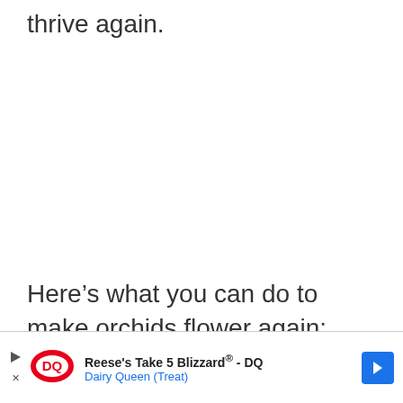thrive again.
Here’s what you can do to make orchids flower again:
[Figure (other): Advertisement banner for Reese's Take 5 Blizzard by Dairy Queen (Treat), with DQ logo and blue arrow icon.]